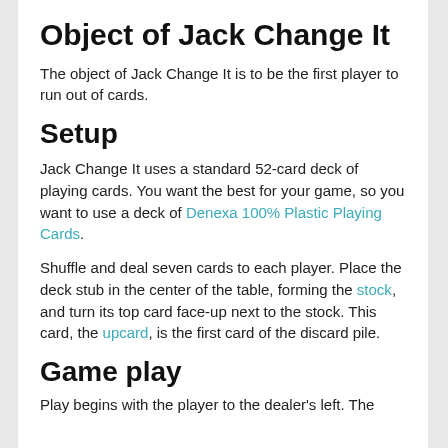Object of Jack Change It
The object of Jack Change It is to be the first player to run out of cards.
Setup
Jack Change It uses a standard 52-card deck of playing cards. You want the best for your game, so you want to use a deck of Denexa 100% Plastic Playing Cards.
Shuffle and deal seven cards to each player. Place the deck stub in the center of the table, forming the stock, and turn its top card face-up next to the stock. This card, the upcard, is the first card of the discard pile.
Game play
Play begins with the player to the dealer's left. The